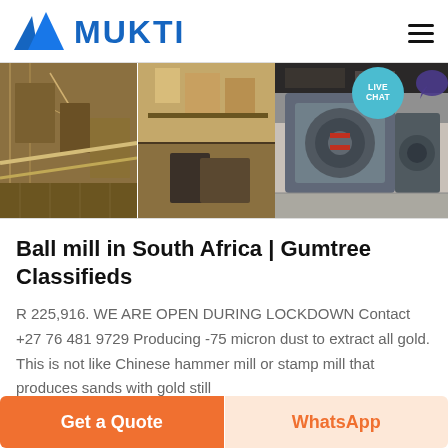[Figure (logo): Mukti company logo with blue triangular mountain-like icon and bold blue MUKTI text, with hamburger menu icon on right]
[Figure (photo): Banner showing two mining/industrial facility aerial photos on the left and one industrial machinery (crusher/pump) photo on the right, with a teal LIVE CHAT bubble overlay]
Ball mill in South Africa | Gumtree Classifieds
R 225,916. WE ARE OPEN DURING LOCKDOWN Contact +27 76 481 9729 Producing -75 micron dust to extract all gold. This is not like Chinese hammer mill or stamp mill that produces sands with gold still
Get a Quote
WhatsApp